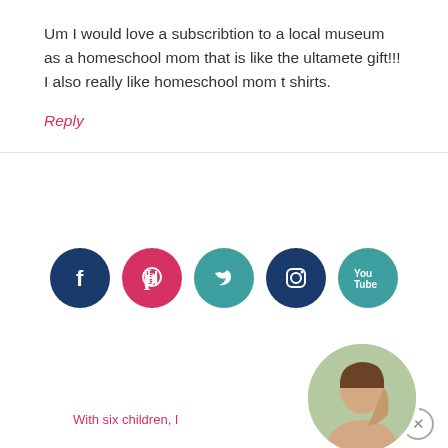Um I would love a subscribtion to a local museum as a homeschool mom that is like the ultamete gift!!! I also really like homeschool mom t shirts.
Reply
[Figure (infographic): Five social media icon circles: Facebook (dark navy), Pinterest (pink/red), Twitter (teal), Instagram (dark navy), YouTube (teal)]
[Figure (infographic): Pink banner reading 'Hey There, I'm Amy!' with a circular portrait photo of a woman with brown hair, and faded pink section below with text 'With six children, I']